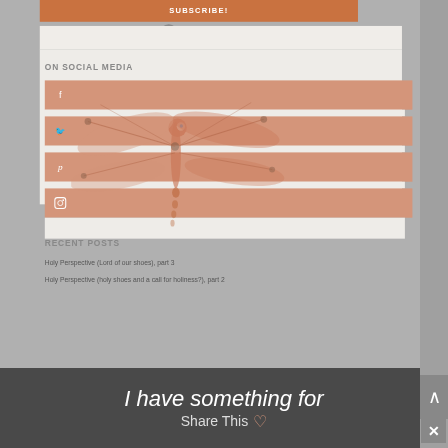SUBSCRIBE!
ON SOCIAL MEDIA
[Figure (illustration): Dragonfly illustration in orange/salmon tones overlaid on social media sidebar]
Facebook icon (f)
Twitter icon
Pinterest icon (p)
Instagram icon
RECENT POSTS
Holy Perspective (Lord of our shoes), part 3
Holy Perspective (holy shoes and a call for holiness?), part 2
I have something for
Share This ♡